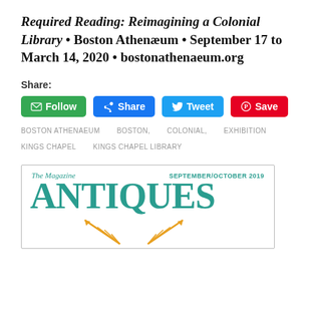Required Reading: Reimagining a Colonial Library • Boston Athenaeum • September 17 to March 14, 2020 • bostonathenaeum.org
Share:
[Figure (infographic): Social media buttons: Follow (green), Share (Facebook blue), Tweet (Twitter blue), Save (Pinterest red)]
BOSTON ATHENAEUM   BOSTON,   COLONIAL,   EXHIBITION
KINGS CHAPEL   KINGS CHAPEL LIBRARY
[Figure (illustration): Cover of The Magazine Antiques, September/October 2019, showing the magazine name in large teal letters and decorative arrows at the bottom]